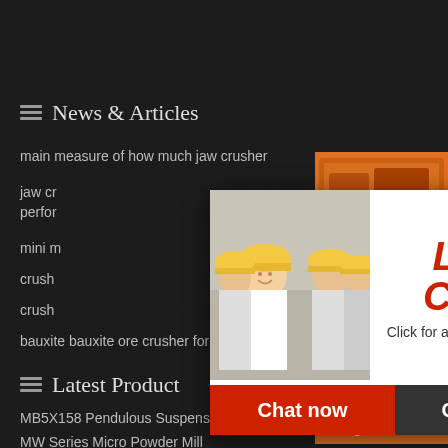News & Articles
main measure of how much jaw crusher
jaw crusher performance
mini m...
crush...
crush...
bauxite bauxite ore crusher for sale in nigria
[Figure (photo): Live chat popup with workers in hard hats, LIVE CHAT text in red italic, Click for a Free Consultation, Chat now and Chat later buttons]
[Figure (photo): Orange sidebar with industrial crusher/mill machinery images, Enjoy 3% discount, Click to Chat, Enquiry, limingjlmofen@sina.com]
Latest Product
MB5X158 Pendulous Suspension
MW Series Micro Powder Mill